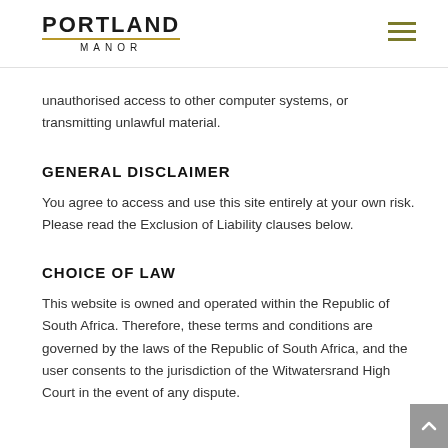PORTLAND MANOR
unauthorised access to other computer systems, or transmitting unlawful material.
GENERAL DISCLAIMER
You agree to access and use this site entirely at your own risk. Please read the Exclusion of Liability clauses below.
CHOICE OF LAW
This website is owned and operated within the Republic of South Africa. Therefore, these terms and conditions are governed by the laws of the Republic of South Africa, and the user consents to the jurisdiction of the Witwatersrand High Court in the event of any dispute.